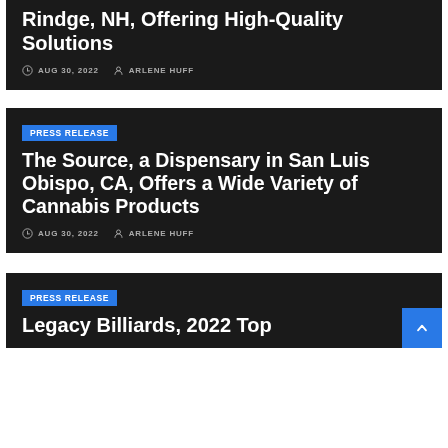Rindge, NH, Offering High-Quality Solutions
AUG 30, 2022  ARLENE HUFF
PRESS RELEASE
The Source, a Dispensary in San Luis Obispo, CA, Offers a Wide Variety of Cannabis Products
AUG 30, 2022  ARLENE HUFF
PRESS RELEASE
Legacy Billiards, 2022 Top